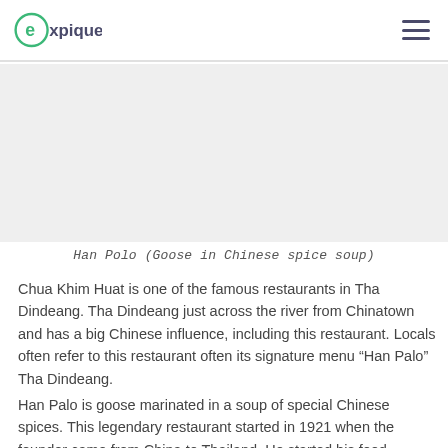expique [logo] [hamburger menu]
[Figure (other): Gray placeholder image area for Han Polo dish photo]
Han Polo (Goose in Chinese spice soup)
Chua Khim Huat is one of the famous restaurants in Tha Dindeang. Tha Dindeang just across the river from Chinatown and has a big Chinese influence, including this restaurant. Locals often refer to this restaurant often its signature menu “Han Palo” Tha Dindeang.
Han Palo is goose marinated in a soup of special Chinese spices. This legendary restaurant started in 1921 when the founder came from China to Thailand. He started his food business from a very small stall which he carried